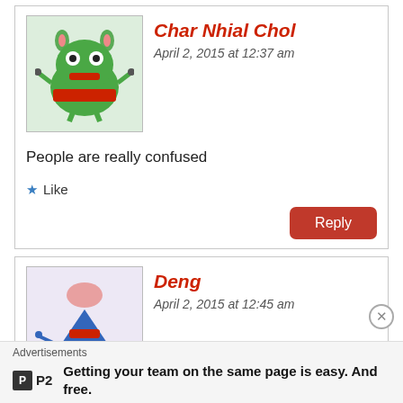[Figure (illustration): Green cartoon monster avatar for user Char Nhial Chol]
Char Nhial Chol
April 2, 2015 at 12:37 am
People are really confused
Like
Reply
[Figure (illustration): Purple/blue cartoon robot avatar for user Deng]
Deng
April 2, 2015 at 12:45 am
Dinka council of Elders, Shame to America and Nuers spoilers, we can not surrender to any Nuer mobilizer, this is the fruits of our
Advertisements
Getting your team on the same page is easy. And free.